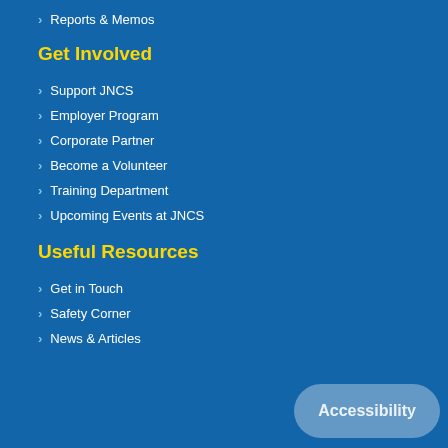Reports & Memos
Get Involved
Support JNCS
Employer Program
Corporate Partner
Become a Volunteer
Training Department
Upcoming Events at JNCS
Useful Resources
Get in Touch
Safety Corner
News & Articles
Accessibility